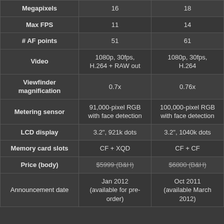|  | Col1 | Col2 |
| --- | --- | --- |
| Megapixels | 16 | 18 |
| Max FPS | 11 | 14 |
| # AF points | 51 | 61 |
| Video | 1080p, 30fps, H.264 + RAW out | 1080p, 30fps, H.264 |
| Viewfinder magnification | 0.7x | 0.76x |
| Metering sensor | 91,000-pixel RGB with face detection | 100,000-pixel RGB with face detection |
| LCD display | 3.2", 921k dots | 3.2", 1040k dots |
| Memory card slots | CF + XQD | CF + CF |
| Price (body) | $5999 (B&H) | $6800 (B&H) |
| Announcement date | Jan 2012 (available for pre-order) | Oct 2011 (available March 2012) |